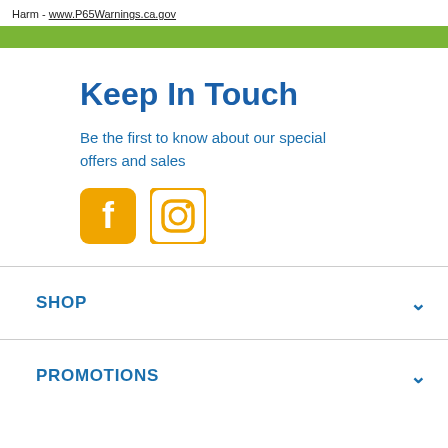Harm - www.P65Warnings.ca.gov
Keep In Touch
Be the first to know about our special offers and sales
[Figure (illustration): Facebook and Instagram social media icons in golden/amber color]
SHOP
PROMOTIONS